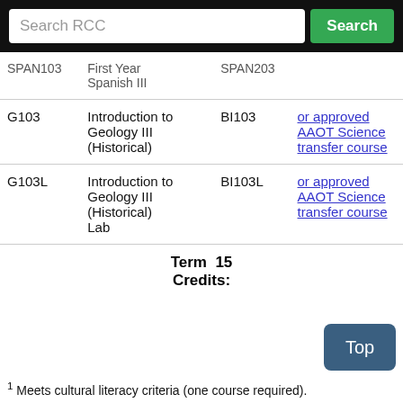| RCC Course | Course Name | BC Course | BC Equivalent |
| --- | --- | --- | --- |
| SPAN103 | First Year Spanish III | SPAN203 |  |
| G103 | Introduction to Geology III (Historical) | BI103 | or approved AAOT Science transfer course |
| G103L | Introduction to Geology III (Historical) Lab | BI103L | or approved AAOT Science transfer course |
Term  15
Credits:
1 Meets cultural literacy criteria (one course required).